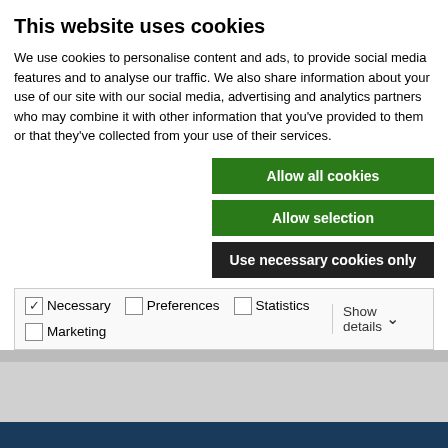This website uses cookies
We use cookies to personalise content and ads, to provide social media features and to analyse our traffic. We also share information about your use of our site with our social media, advertising and analytics partners who may combine it with other information that you've provided to them or that they've collected from your use of their services.
Allow all cookies
Allow selection
Use necessary cookies only
| Necessary | Preferences | Statistics | Show details |
| --- | --- | --- | --- |
| ☑ Necessary | ☐ Preferences | ☐ Statistics | Show details ▾ |
| ☐ Marketing |  |  |  |
[Figure (logo): Lægemiddelstyrelsen / Danish Medicines Agency logo with crown icon on dark blue background]